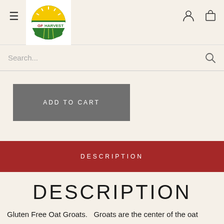[Figure (logo): GF Harvest logo — circular badge with sun/wheat graphic, green and yellow colors]
Search...
ADD TO CART
DESCRIPTION
DESCRIPTION
Gluten Free Oat Groats.  Groats are the center of the oat